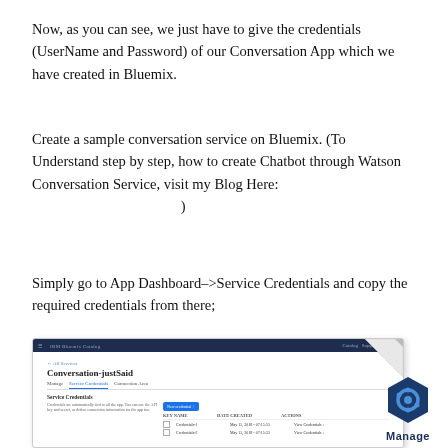Now, as you can see, we just have to give the credentials (UserName and Password) of our Conversation App which we have created in Bluemix.
Create a sample conversation service on Bluemix. (To Understand step by step, how to create Chatbot through Watson Conversation Service, visit my Blog Here:
)
Simply go to App Dashboard–>Service Credentials and copy the required credentials from there;
[Figure (screenshot): Screenshot of IBM Bluemix dashboard showing Conversation-justSaid service page with Service Credentials tab selected, showing a table with credential entries and a New credential button.]